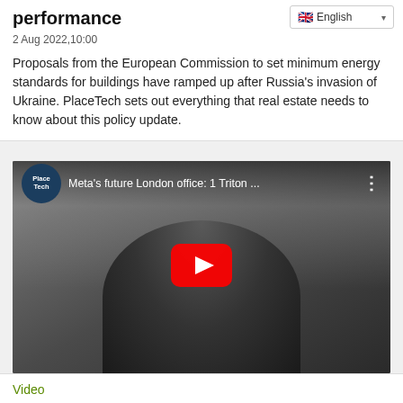performance
2 Aug 2022,10:00
Proposals from the European Commission to set minimum energy standards for buildings have ramped up after Russia's invasion of Ukraine. PlaceTech sets out everything that real estate needs to know about this policy update.
[Figure (screenshot): YouTube video thumbnail showing a man with glasses in a leather jacket standing in an industrial/office space. Video title reads 'Meta's future London office: 1 Triton...' with PlaceTech logo in top left and YouTube play button in center.]
Video
VIDEO | PlaceTech visits 1 Triton